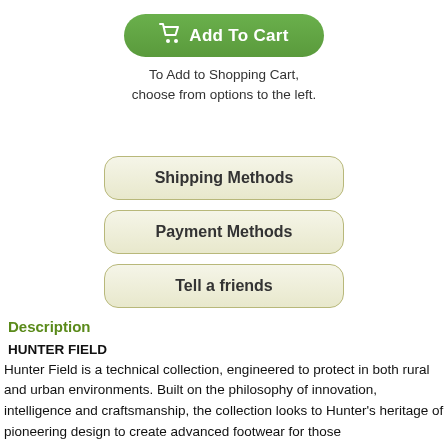[Figure (other): Green Add To Cart button with shopping cart icon]
To Add to Shopping Cart,
choose from options to the left.
[Figure (other): Shipping Methods button]
[Figure (other): Payment Methods button]
[Figure (other): Tell a friends button]
Description
HUNTER FIELD
Hunter Field is a technical collection, engineered to protect in both rural and urban environments. Built on the philosophy of innovation, intelligence and craftsmanship, the collection looks to Hunter's heritage of pioneering design to create advanced footwear for those